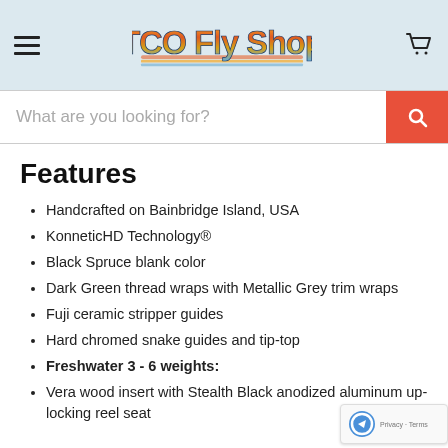[Figure (logo): TCO Fly Shop logo with colorful gradient lettering on light blue header background, with hamburger menu icon on left and cart icon on right]
[Figure (screenshot): Search bar with placeholder text 'What are you looking for?' and orange-red search button with magnifying glass icon]
Features
Handcrafted on Bainbridge Island, USA
KonneticHD Technology®
Black Spruce blank color
Dark Green thread wraps with Metallic Grey trim wraps
Fuji ceramic stripper guides
Hard chromed snake guides and tip-top
Freshwater 3 - 6 weights:
Vera wood insert with Stealth Black anodized aluminum up-locking reel seat